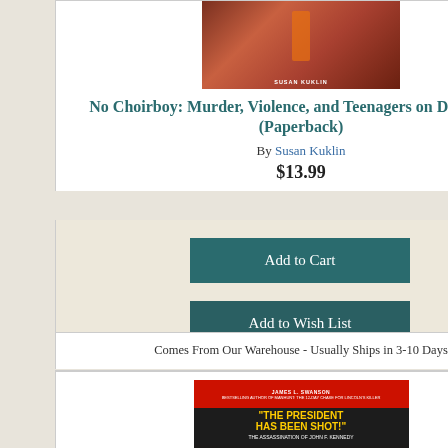[Figure (photo): Book cover for No Choirboy: Murder, Violence, and Teenagers on Death Row by Susan Kuklin]
No Choirboy: Murder, Violence, and Teenagers on Death Row (Paperback)
By Susan Kuklin
$13.99
Add to Cart
Add to Wish List
Comes From Our Warehouse - Usually Ships in 3-10 Days
[Figure (photo): Book cover for The President Has Been Shot! by James L. Swanson]